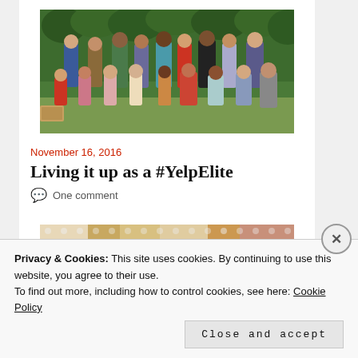[Figure (photo): Group photo of approximately 20 people posing outdoors in front of green hedges/trees. People are wearing summer clothing in various colors.]
November 16, 2016
Living it up as a #YelpElite
One comment
[Figure (photo): Partial view of another image strip, appears to be a decorative or food-related photo in tan/brown tones]
Privacy & Cookies: This site uses cookies. By continuing to use this website, you agree to their use.
To find out more, including how to control cookies, see here: Cookie Policy
Close and accept